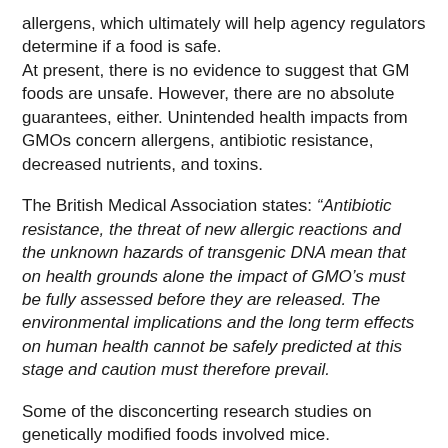allergens, which ultimately will help agency regulators determine if a food is safe.
At present, there is no evidence to suggest that GM foods are unsafe. However, there are no absolute guarantees, either. Unintended health impacts from GMOs concern allergens, antibiotic resistance, decreased nutrients, and toxins.
The British Medical Association states: “Antibiotic resistance, the threat of new allergic reactions and the unknown hazards of transgenic DNA mean that on health grounds alone the impact of GMO’s must be fully assessed before they are released. The environmental implications and the long term effects on human health cannot be safely predicted at this stage and caution must therefore prevail.
Some of the disconcerting research studies on genetically modified foods involved mice.
A decade-long project to develop genetically modified peas with built-in pest-resistance has been abandoned after tests